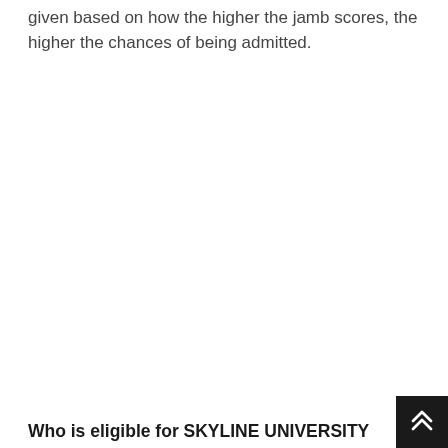given based on how the higher the jamb scores, the higher the chances of being admitted.
Who is eligible for SKYLINE UNIVERSITY